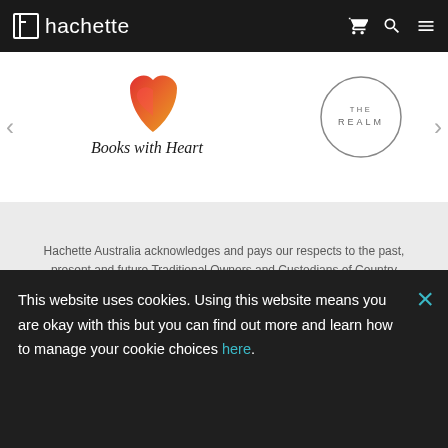hachette
[Figure (logo): Books with Heart logo — stylized heart with red/orange/pink gradient and script text 'Books with Heart']
[Figure (logo): THE REALM circular logo text inside a circle]
Hachette Australia acknowledges and pays our respects to the past, present and future Traditional Owners and Custodians of Country throughout Australia and recognises the continuation of cultural, spiritual and educational practices of Aboriginal and Torres Strait Islander peoples. Our head office is located on the lands of the Gadigal people of the Eora Nation.
This website uses cookies. Using this website means you are okay with this but you can find out more and learn how to manage your cookie choices here.